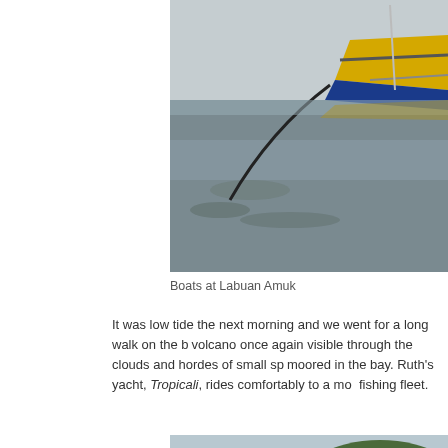[Figure (photo): Boats on a beach at low tide at Labuan Amuk, with a yellow traditional outrigger fishing boat and dark water/sand visible.]
Boats at Labuan Amuk
It was low tide the next morning and we went for a long walk on the beach, volcano once again visible through the clouds and hordes of small spi... moored in the bay. Ruth's yacht, Tropicali, rides comfortably to a moo... fishing fleet.
[Figure (photo): Fishermen hauling nets on a beach with a pier, red ship, and green hillside in the background.]